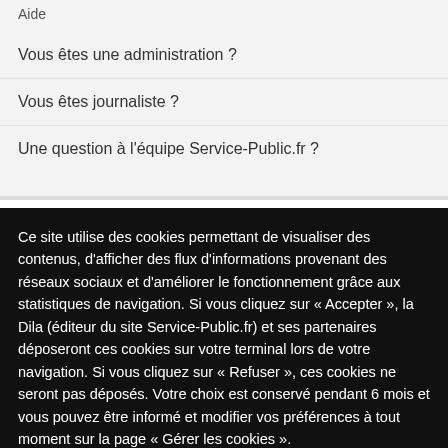Aide
Vous êtes une administration ?
Vous êtes journaliste ?
Une question à l'équipe Service-Public.fr ?
[Figure (logo): French tricolor flag logo]
Ce site utilise des cookies permettant de visualiser des contenus, d'afficher des flux d'informations provenant des réseaux sociaux et d'améliorer le fonctionnement grâce aux statistiques de navigation. Si vous cliquez sur « Accepter », la Dila (éditeur du site Service-Public.fr) et ses partenaires déposeront ces cookies sur votre terminal lors de votre navigation. Si vous cliquez sur « Refuser », ces cookies ne seront pas déposés. Votre choix est conservé pendant 6 mois et vous pouvez être informé et modifier vos préférences à tout moment sur la page « Gérer les cookies ».